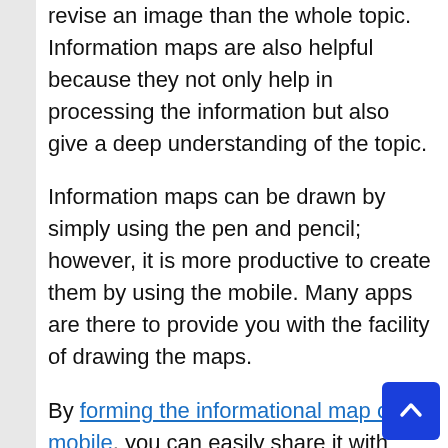revise an image than the whole topic. Information maps are also helpful because they not only help in processing the information but also give a deep understanding of the topic.
Information maps can be drawn by simply using the pen and pencil; however, it is more productive to create them by using the mobile. Many apps are there to provide you with the facility of drawing the maps.
By forming the informational map on mobile, you can easily share it with others in case if you want to help your fellows in getting the understanding of the subject. You are not required to give them your paper.  Moreover, you can also get feedback from your fellows or